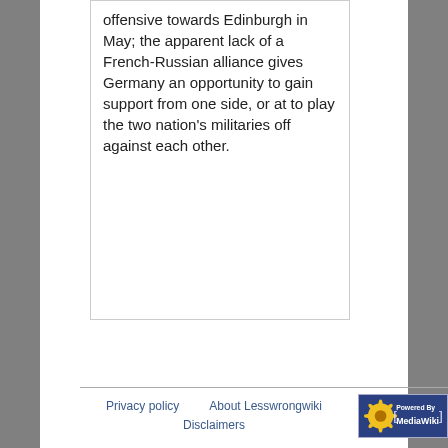offensive towards Edinburgh in May; the apparent lack of a French-Russian alliance gives Germany an opportunity to gain support from one side, or at to play the two nation's militaries off against each other.
Privacy policy   About Lesswrongwiki   Disclaimers   Powered by MediaWiki